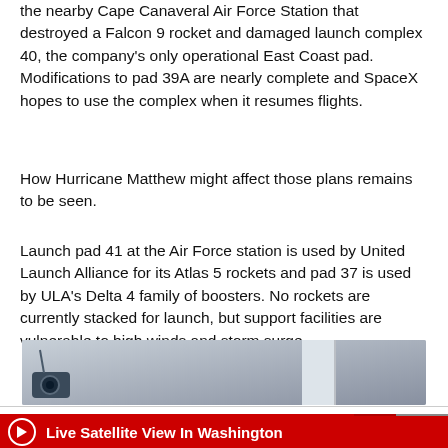the nearby Cape Canaveral Air Force Station that destroyed a Falcon 9 rocket and damaged launch complex 40, the company's only operational East Coast pad. Modifications to pad 39A are nearly complete and SpaceX hopes to use the complex when it resumes flights.
How Hurricane Matthew might affect those plans remains to be seen.
Launch pad 41 at the Air Force station is used by United Launch Alliance for its Atlas 5 rockets and pad 37 is used by ULA's Delta 4 family of boosters. No rockets are currently stacked for launch, but support facilities are vulnerable to high winds and storm surge.
[Figure (photo): Partial view of an interior space, possibly a launch facility or room, showing a camera or sensor device in the lower left and a white door or panel on the right side. Grey/blue-toned background.]
Search For
Spacex Launch Schedule
Live Satellite View In Washington